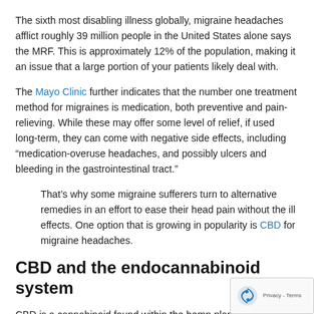The sixth most disabling illness globally, migraine headaches afflict roughly 39 million people in the United States alone says the MRF. This is approximately 12% of the population, making it an issue that a large portion of your patients likely deal with.
The Mayo Clinic further indicates that the number one treatment method for migraines is medication, both preventive and pain-relieving. While these may offer some level of relief, if used long-term, they can come with negative side effects, including “medication-overuse headaches, and possibly ulcers and bleeding in the gastrointestinal tract.”
That’s why some migraine sufferers turn to alternative remedies in an effort to ease their head pain without the ill effects. One option that is growing in popularity is CBD for migraine headaches.
CBD and the endocannabinoid system
CBD is a cannabinoid found within the hemp plant that provides benefits due to its interaction with the human body’s endocannabinoid system. This is a system which the University of California, Los Angeles explains “is involved in a wide variety of processes, including pain, memory, mood, appetite, stress, sleep,